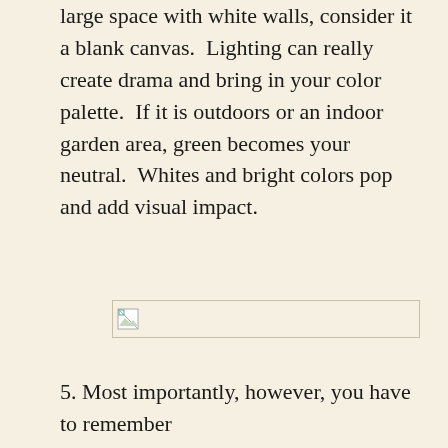large space with white walls, consider it a blank canvas.  Lighting can really create drama and bring in your color palette.  If it is outdoors or an indoor garden area, green becomes your neutral.  Whites and bright colors pop and add visual impact.
[Figure (photo): Broken/missing image placeholder (first)]
[Figure (photo): Broken/missing image placeholder (second)]
5. Most importantly, however, you have to remember